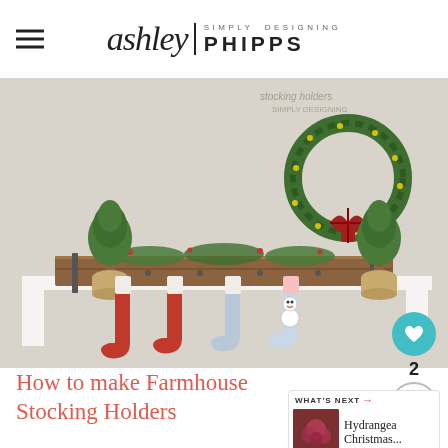Simply Designing ashley | PHIPPS
[Figure (photo): Christmas mantel with farmhouse stocking holders, four stockings hanging from a rustic wooden board with metal brackets, decorated with greenery, ornaments, small burlap-wrapped trees, and a wreath with plaid bow. Watermark reads 'stocking holders | simply designing'.]
How to make Farmhouse Stocking Holders
[Figure (photo): Thumbnail for 'What's Next' article about Hydrangea Christmas...]